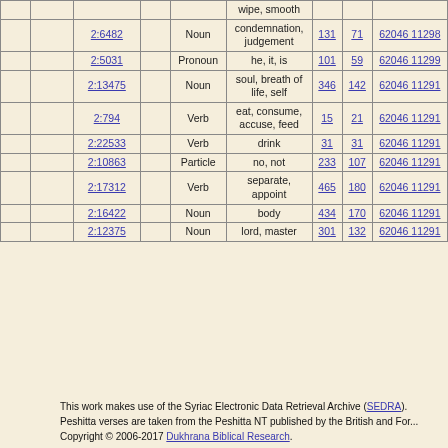|  |  | Ref |  | Type | Meaning | count1 | count2 | Link |
| --- | --- | --- | --- | --- | --- | --- | --- | --- |
|  |  |  |  |  | wipe, smooth |  |  |  |
|  |  | 2:6482 |  | Noun | condemnation, judgement | 131 | 71 | 62046 11298 |
|  |  | 2:5031 |  | Pronoun | he, it, is | 101 | 59 | 62046 11299 |
|  |  | 2:13475 |  | Noun | soul, breath of life, self | 346 | 142 | 62046 11291 |
|  |  | 2:794 |  | Verb | eat, consume, accuse, feed | 15 | 21 | 62046 11291 |
|  |  | 2:22533 |  | Verb | drink | 31 | 31 | 62046 11291 |
|  |  | 2:10863 |  | Particle | no, not | 233 | 107 | 62046 11291 |
|  |  | 2:17312 |  | Verb | separate, appoint | 465 | 180 | 62046 11291 |
|  |  | 2:16422 |  | Noun | body | 434 | 170 | 62046 11291 |
|  |  | 2:12375 |  | Noun | lord, master | 301 | 132 | 62046 11291 |
This work makes use of the Syriac Electronic Data Retrieval Archive (SEDRA). Peshitta verses are taken from the Peshitta NT published by the British and Foreign Bible Society. Copyright © 2006-2017 Dukhrana Biblical Research.